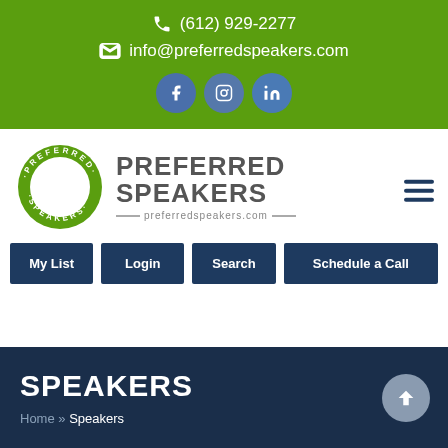(612) 929-2277
info@preferredspeakers.com
[Figure (logo): Preferred Speakers logo with circular badge and brand name]
My List
Login
Search
Schedule a Call
SPEAKERS
Home » Speakers